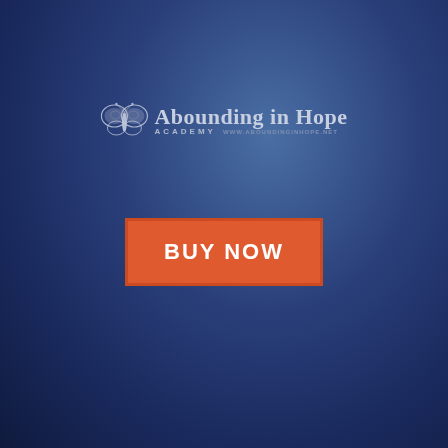[Figure (logo): Abounding in Hope Academy logo with butterfly graphic and text]
BUY NOW